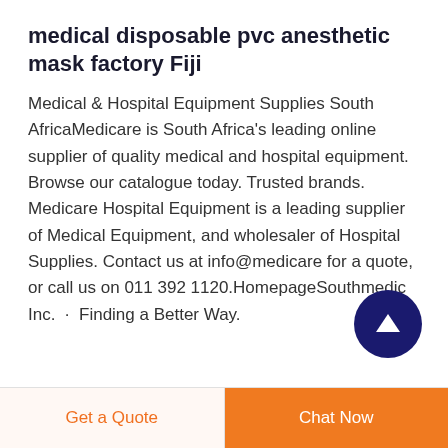medical disposable pvc anesthetic mask factory Fiji
Medical & Hospital Equipment Supplies South AfricaMedicare is South Africa's leading online supplier of quality medical and hospital equipment. Browse our catalogue today. Trusted brands. Medicare Hospital Equipment is a leading supplier of Medical Equipment, and wholesaler of Hospital Supplies. Contact us at info@medicare for a quote, or call us on 011 392 1120.HomepageSouthmedic Inc.  ·  Finding a Better Way.
[Figure (other): Dark blue circular scroll-to-top button with white upward arrow icon]
Get a Quote
Chat Now